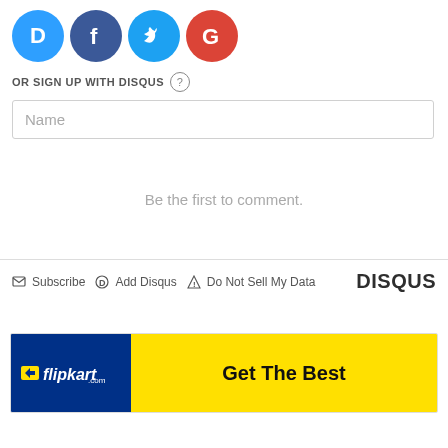[Figure (logo): Four social login icons in circles: Disqus (blue D), Facebook (dark blue f), Twitter (light blue bird), Google (red G)]
OR SIGN UP WITH DISQUS ?
Name
Be the first to comment.
Subscribe  Add Disqus  Do Not Sell My Data  DISQUS
[Figure (screenshot): Flipkart advertisement banner: dark blue left section with Flipkart logo, yellow right section with text Get The Best]